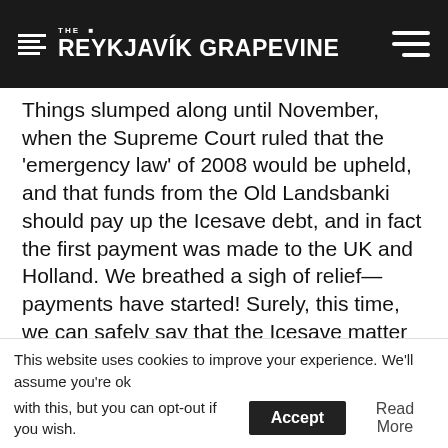THE REYKJAVÍK GRAPEVINE
Things slumped along until November, when the Supreme Court ruled that the 'emergency law' of 2008 would be upheld, and that funds from the Old Landsbanki should pay up the Icesave debt, and in fact the first payment was made to the UK and Holland. We breathed a sigh of relief—payments have started! Surely, this time, we can safely say that the Icesave matter is finally over, yes?
No. The European Free Trade Association (EFTA) summoned the country to court, on account of waiting three years to begin returning bank deposits to people wanting to withdraw their money from their accounts, which is part of an obligation to international law (deposit
This website uses cookies to improve your experience. We'll assume you're ok with this, but you can opt-out if you wish. Accept Read More